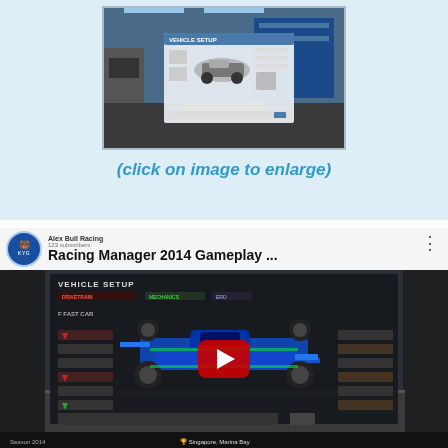[Figure (screenshot): Screenshot of Racing Manager 2014 vehicle setup screen showing a racing car diagram with setup options, displayed in a garage environment with blue walls]
(click on image to enlarge)
[Figure (screenshot): YouTube video embed showing 'Racing Manager 2014 Gameplay ...' from channel 'Alex Bull Racing' with KYG logo. Video shows vehicle setup screen with a blue Formula 1 style car and red YouTube play button overlay. Bottom shows Singapore Marina Bay race information.]